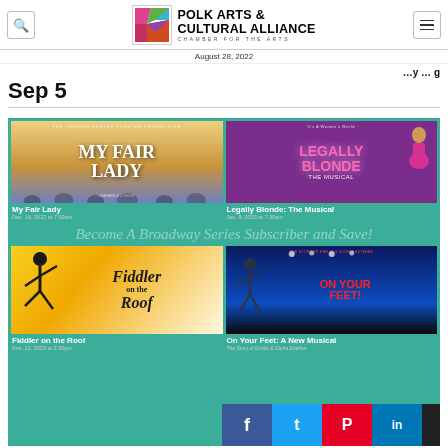Polk Arts & Cultural Alliance — Chamber for the Arts | August 28, 2022
... Aug – Sep 5
[Figure (infographic): Broadway series advertisement on teal/green background with four show posters: My Fair Lady (Dec. 16, 2022 at 7:30am), Legally Blonde: The Musical (Jan. 8, 2023 at 7:30am), Fiddler on the Roof (Feb. 13, 2023 at 2:30pm), On Your Feet: A New Musical. Banner text: Become A Broadway Series Subscriber and Save!]
My Fair Lady — Dec. 16, 2022 at 7:30am
Legally Blonde: The Musical — Jan. 8, 2023 at 7:30am
Fiddler on the Roof — Feb. 13, 2023 at 2:30pm
On Your Feet: A New Musical